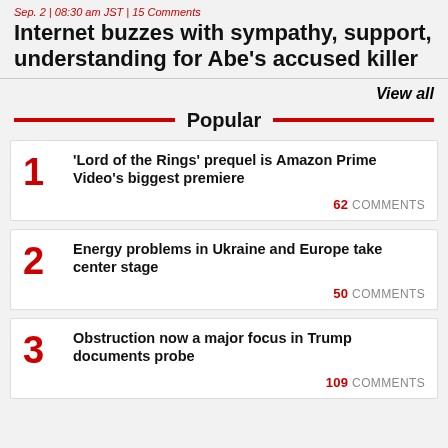Sep. 2 | 08:30 am JST | 15 Comments
Internet buzzes with sympathy, support, understanding for Abe's accused killer
View all
Popular
1 'Lord of the Rings' prequel is Amazon Prime Video's biggest premiere — 62 COMMENTS
2 Energy problems in Ukraine and Europe take center stage — 50 COMMENTS
3 Obstruction now a major focus in Trump documents probe — 109 COMMENTS